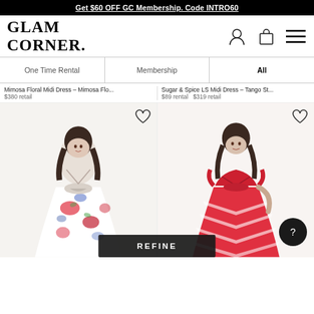Get $60 OFF GC Membership. Code INTRO60
[Figure (logo): GlamCorner logo and navigation icons (user, bag, menu)]
[Figure (screenshot): Navigation tabs: One Time Rental, Membership, All]
Mimosa Floral Midi Dress - Mimosa Flo... $380 retail
Sugar & Spice LS Midi Dress - Tango St... $89 rental $319 retail
[Figure (photo): Model wearing white and red floral midi dress with tie front]
[Figure (photo): Model wearing red chevron pattern midi dress with V-neckline]
REFINE